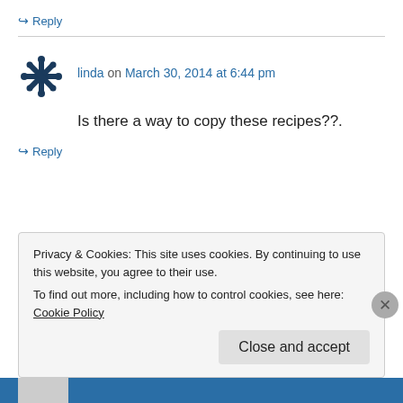↪ Reply
linda on March 30, 2014 at 6:44 pm
Is there a way to copy these recipes??.
↪ Reply
Privacy & Cookies: This site uses cookies. By continuing to use this website, you agree to their use.
To find out more, including how to control cookies, see here: Cookie Policy
Close and accept